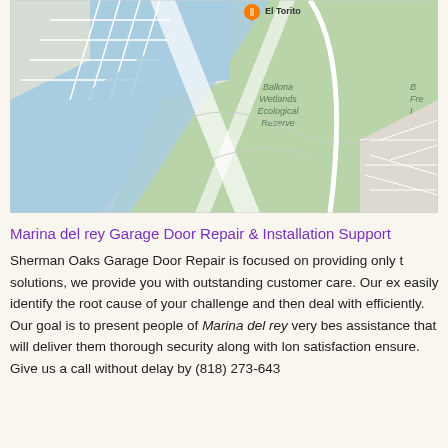[Figure (map): Google Maps screenshot showing Ballona Wetlands Ecological Reserve area near Marina del Rey, with blue waterways, green areas, and street grid. El Torito restaurant marker visible at top. Partial text 'Ballona Wetlands Ecological Reserve' and 'Fre' (Freeway) visible.]
Marina del rey Garage Door Repair & Installation Support
Sherman Oaks Garage Door Repair is focused on providing only the best solutions, we provide you with outstanding customer care. Our experts easily identify the root cause of your challenge and then deal with it efficiently. Our goal is to present people of Marina del rey very best assistance that will deliver them thorough security along with long satisfaction ensure. Give us a call without delay by (818) 273-6430